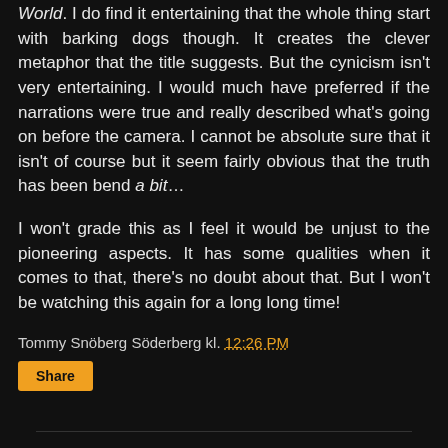World. I do find it entertaining that the whole thing start with barking dogs though. It creates the clever metaphor that the title suggests. But the cynicism isn't very entertaining. I would much have preferred if the narrations were true and really described what's going on before the camera. I cannot be absolute sure that it isn't of course but it seem fairly obvious that the truth has been bend a bit…
I won't grade this as I feel it would be unjust to the pioneering aspects. It has some qualities when it comes to that, there's no doubt about that. But I won't be watching this again for a long long time!
Tommy Snöberg Söderberg kl. 12:26 PM
Share
No comments:
Post a Comment